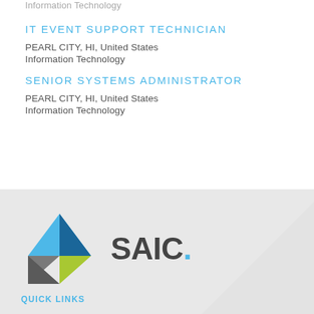Information Technology
IT EVENT SUPPORT TECHNICIAN
PEARL CITY, HI, United States
Information Technology
SENIOR SYSTEMS ADMINISTRATOR
PEARL CITY, HI, United States
Information Technology
[Figure (logo): SAIC logo with colorful triangle and SAIC wordmark]
QUICK LINKS